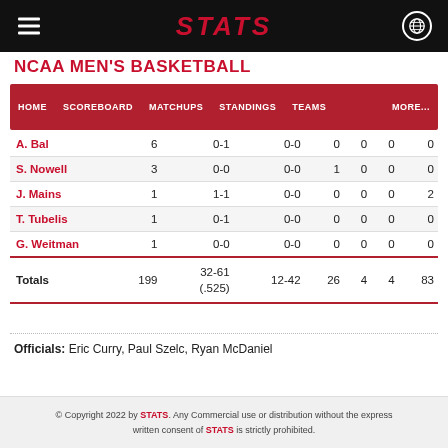STATS
NCAA MEN'S BASKETBALL
| HOME | SCOREBOARD | MATCHUPS | STANDINGS | TEAMS |  |  | MORE... |
| --- | --- | --- | --- | --- | --- | --- | --- |
| A. Bal | 6 | 0-1 | 0-0 | 0 | 0 | 0 | 0 |
| S. Nowell | 3 | 0-0 | 0-0 | 1 | 0 | 0 | 0 |
| J. Mains | 1 | 1-1 | 0-0 | 0 | 0 | 0 | 2 |
| T. Tubelis | 1 | 0-1 | 0-0 | 0 | 0 | 0 | 0 |
| G. Weitman | 1 | 0-0 | 0-0 | 0 | 0 | 0 | 0 |
| Totals | 199 | 32-61 (.525) | 12-42 | 26 | 4 | 4 | 83 |
Officials: Eric Curry, Paul Szelc, Ryan McDaniel
© Copyright 2022 by STATS. Any Commercial use or distribution without the express written consent of STATS is strictly prohibited.